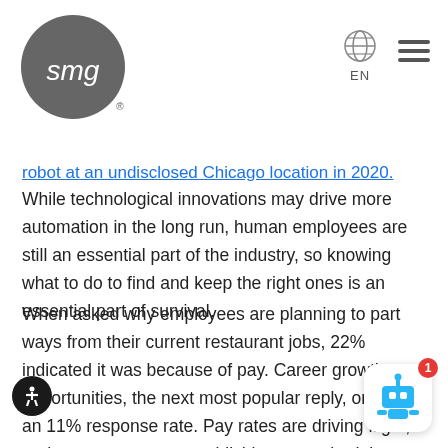SMG logo and navigation with globe/EN and hamburger menu
robot at an undisclosed Chicago location in 2020. While technological innovations may drive more automation in the long run, human employees are still an essential part of the industry, so knowing what to do to find and keep the right ones is an essential part of survival.
When asked why employees are planning to part ways from their current restaurant jobs, 22% indicated it was because of pay. Career growth opportunities, the next most popular reply, only saw an 11% response rate. Pay rates are driving flight, and many areas are establishing pay schedules above minimum wage.